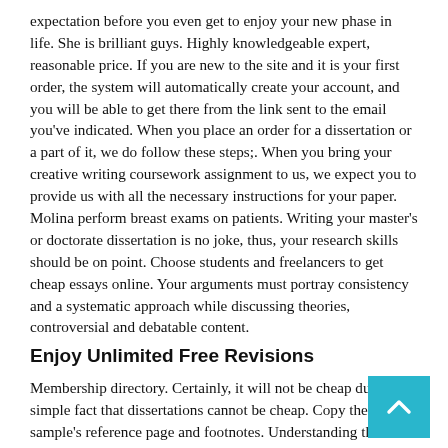expectation before you even get to enjoy your new phase in life. She is brilliant guys. Highly knowledgeable expert, reasonable price. If you are new to the site and it is your first order, the system will automatically create your account, and you will be able to get there from the link sent to the email you've indicated. When you place an order for a dissertation or a part of it, we do follow these steps;. When you bring your creative writing coursework assignment to us, we expect you to provide us with all the necessary instructions for your paper. Molina perform breast exams on patients. Writing your master's or doctorate dissertation is no joke, thus, your research skills should be on point. Choose students and freelancers to get cheap essays online. Your arguments must portray consistency and a systematic approach while discussing theories, controversial and debatable content.
Enjoy Unlimited Free Revisions
Membership directory. Certainly, it will not be cheap due to the simple fact that dissertations cannot be cheap. Copy the sample's reference page and footnotes. Understanding the significance of your university coursework, we are your